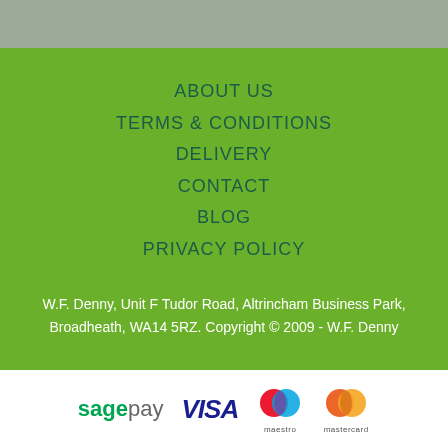[Figure (photo): Partial photo banner at top of page, greyed out]
ABOUT US
TERMS & CONDITIONS
DELIVERY
CONTACT
BLOG
PRIVACY POLICY
W.F. Denny, Unit F Tudor Road, Altrincham Business Park, Broadheath, WA14 5RZ. Copyright © 2009 - W.F. Denny
[Figure (logo): Payment logos: Sage Pay, VISA, Maestro, Mastercard]